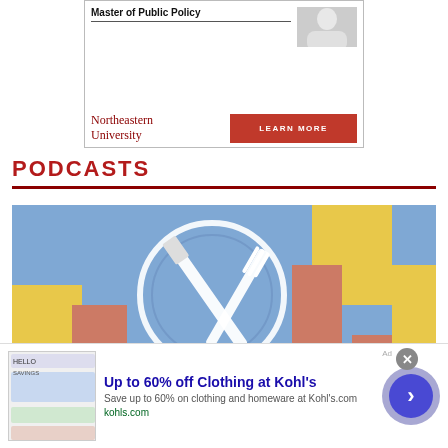[Figure (other): Northeastern University advertisement banner with Master of Public Policy text, person silhouette, university logo and Learn More button]
PODCASTS
[Figure (illustration): Colorful illustrated graphic of crossed knife and fork on a plate with geometric city skyline background in blue, yellow, salmon/orange colors]
[Figure (other): Advertisement for Kohl's: Up to 60% off Clothing at Kohl's. Save up to 60% on clothing and homeware at Kohl's.com. Domain: kohls.com. With thumbnail image and arrow button.]